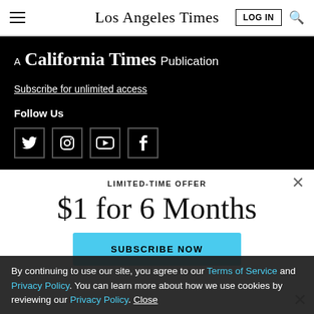Los Angeles Times — LOG IN
A California Times Publication
Subscribe for unlimited access
Follow Us
[Figure (other): Social media icons: Twitter, Instagram, YouTube, Facebook]
LIMITED-TIME OFFER
$1 for 6 Months
SUBSCRIBE NOW
By continuing to use our site, you agree to our Terms of Service and Privacy Policy. You can learn more about how we use cookies by reviewing our Privacy Policy. Close